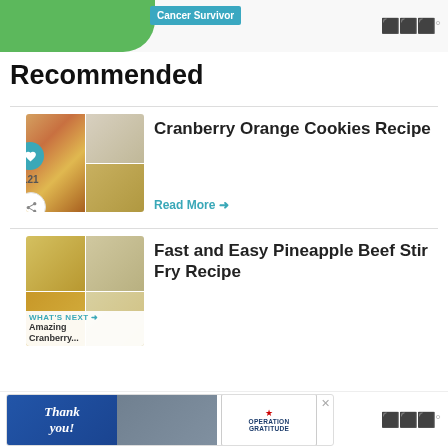[Figure (screenshot): Top advertisement banner with green shape, teal text reading 'Cancer Survivor', and logo on right]
Recommended
[Figure (photo): Cranberry Orange Cookies recipe thumbnail collage]
Cranberry Orange Cookies Recipe
Read More →
[Figure (photo): Fast and Easy Pineapple Beef Stir Fry Recipe thumbnail collage]
Fast and Easy Pineapple Beef Stir Fry Recipe
WHAT'S NEXT → Amazing Cranberry...
[Figure (screenshot): Bottom advertisement banner for Operation Gratitude with thank you image and logo]